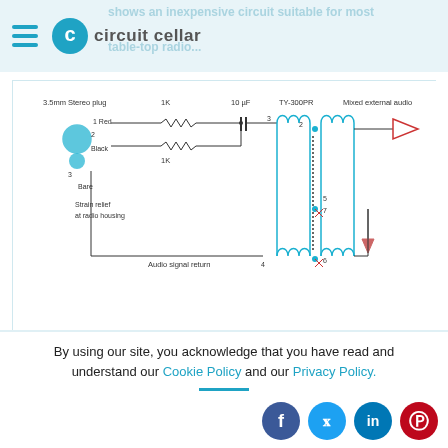circuit cellar — shows an inexpensive circuit suitable for most table-top radio
[Figure (circuit-diagram): Schematic of an inexpensive circuit for mixing an MP3 player stereo audio signals into an antique radio. Shows a 3.5mm stereo plug with Red (1), Black (2), Bare (3) wires, strain relief at radio housing label, 1K resistors, 10uF capacitor, TY-300PR transformer with pins 2,5,7,6, and Mixed external audio output.]
Figure 1: An inexpensive circuit for mixing an MP3 player's stereo audio signals safely into an antique radio. None of the component values are critical. (Source: B. Reeve, AX 5/12)
These radios have relatively small speakers that
By using our site, you acknowledge that you have read and understand our Cookie Policy and our Privacy Policy.